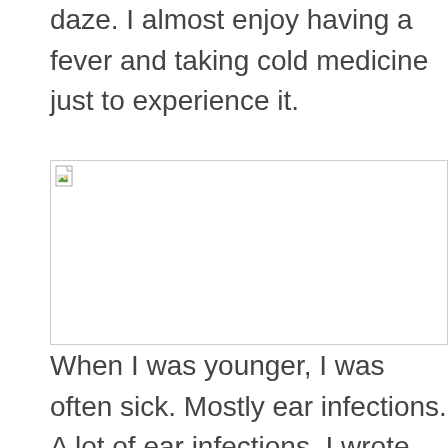daze. I almost enjoy having a fever and taking cold medicine just to experience it.
[Figure (photo): Broken/missing image placeholder with small icon in top-left corner]
When I was younger, I was often sick. Mostly ear infections. A lot of ear infections. I wrote about them back in 2016. Read about me